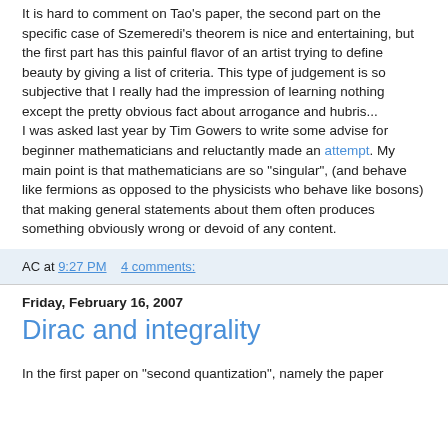It is hard to comment on Tao's paper, the second part on the specific case of Szemeredi's theorem is nice and entertaining, but the first part has this painful flavor of an artist trying to define beauty by giving a list of criteria. This type of judgement is so subjective that I really had the impression of learning nothing except the pretty obvious fact about arrogance and hubris... I was asked last year by Tim Gowers to write some advise for beginner mathematicians and reluctantly made an attempt. My main point is that mathematicians are so "singular", (and behave like fermions as opposed to the physicists who behave like bosons) that making general statements about them often produces something obviously wrong or devoid of any content.
AC at 9:27 PM  4 comments:
Friday, February 16, 2007
Dirac and integrality
In the first paper on "second quantization", namely the paper